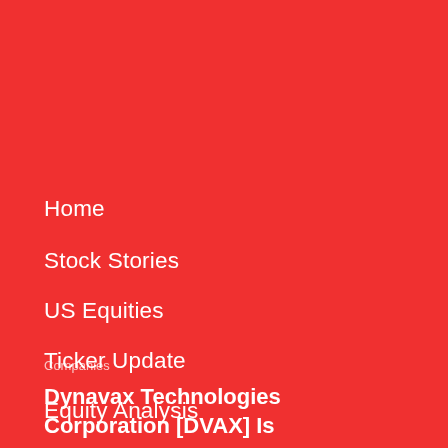Home
Stock Stories
US Equities
Ticker Update
Equity Analysis
Companies
Dynavax Technologies Corporation [DVAX] Is